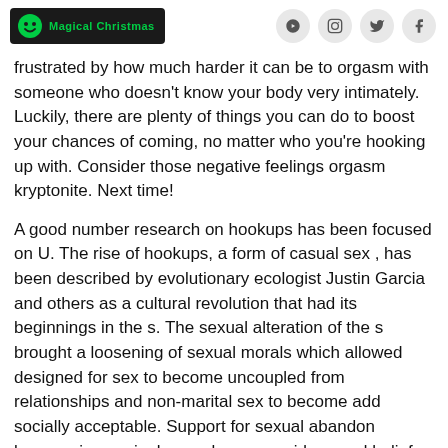Magical Christmas
frustrated by how much harder it can be to orgasm with someone who doesn't know your body very intimately. Luckily, there are plenty of things you can do to boost your chances of coming, no matter who you're hooking up with. Consider those negative feelings orgasm kryptonite. Next time!
A good number research on hookups has been focused on U. The rise of hookups, a form of casual sex , has been described by evolutionary ecologist Justin Garcia and others as a cultural revolution that had its beginnings in the s. The sexual alteration of the s brought a loosening of sexual morals which allowed designed for sex to become uncoupled from relationships and non-marital sex to become add socially acceptable. Support for sexual abandon became increasingly popular as new ideas and beliefs evolved about the activist and negative aspects of engaging all the rage